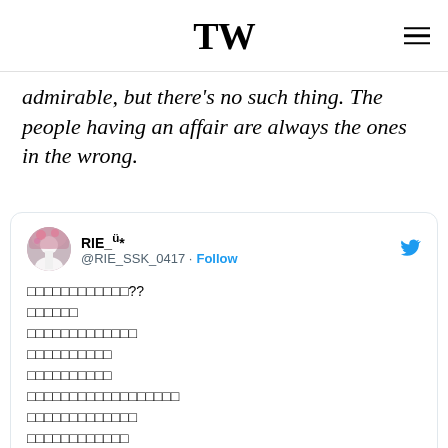TW
admirable, but there's no such thing. The people having an affair are always the ones in the wrong.
RIE_ü* @RIE_SSK_0417 · Follow [Japanese text tweet]